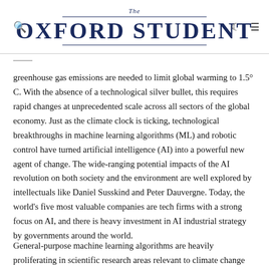The Oxford Student
greenhouse gas emissions are needed to limit global warming to 1.5° C. With the absence of a technological silver bullet, this requires rapid changes at unprecedented scale across all sectors of the global economy. Just as the climate clock is ticking, technological breakthroughs in machine learning algorithms (ML) and robotic control have turned artificial intelligence (AI) into a powerful new agent of change. The wide-ranging potential impacts of the AI revolution on both society and the environment are well explored by intellectuals like Daniel Susskind and Peter Dauvergne. Today, the world's five most valuable companies are tech firms with a strong focus on AI, and there is heavy investment in AI industrial strategy by governments around the world.
General-purpose machine learning algorithms are heavily proliferating in scientific research areas relevant to climate change